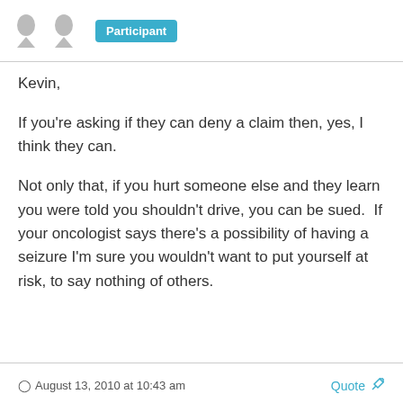Participant
Kevin,
If you're asking if they can deny a claim then, yes, I think they can.
Not only that, if you hurt someone else and they learn you were told you shouldn't drive, you can be sued.  If your oncologist says there's a possibility of having a seizure I'm sure you wouldn't want to put yourself at risk, to say nothing of others.
August 13, 2010 at 10:43 am   Quote